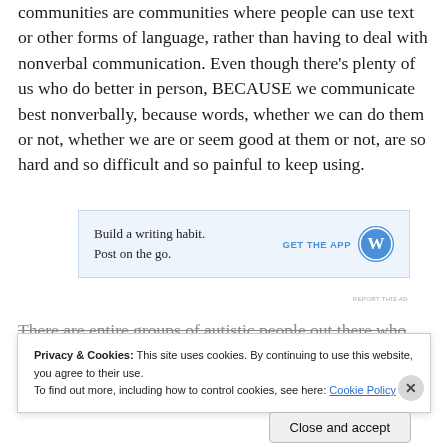communities are communities where people can use text or other forms of language, rather than having to deal with nonverbal communication. Even though there's plenty of us who do better in person, BECAUSE we communicate best nonverbally, because words, whether we can do them or not, whether we are or seem good at them or not, are so hard and so difficult and so painful to keep using.
[Figure (other): WordPress advertisement: 'Build a writing habit. Post on the go.' with GET THE APP call to action and WordPress logo]
There are entire groups of autistic people out there who
Privacy & Cookies: This site uses cookies. By continuing to use this website, you agree to their use.
To find out more, including how to control cookies, see here: Cookie Policy